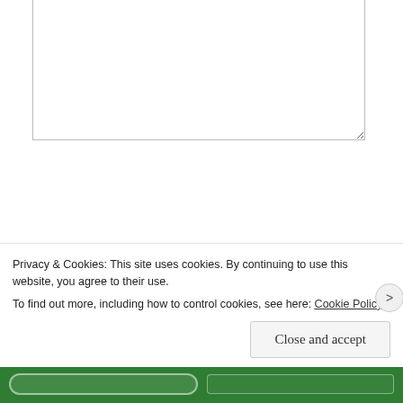[Figure (screenshot): Textarea input box (empty) at top of comment form]
NAME *
[Figure (screenshot): Name input field (empty text box)]
EMAIL *
[Figure (screenshot): Email input field (empty text box)]
WEBSITE
[Figure (screenshot): Website input field (empty text box)]
[Figure (screenshot): Post Comment button]
Privacy & Cookies: This site uses cookies. By continuing to use this website, you agree to their use.
To find out more, including how to control cookies, see here: Cookie Policy
[Figure (screenshot): Close and accept button]
[Figure (screenshot): Green bar at bottom with two buttons]